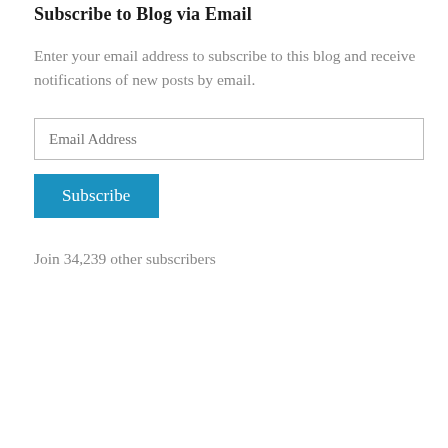Subscribe to Blog via Email
Enter your email address to subscribe to this blog and receive notifications of new posts by email.
Join 34,239 other subscribers